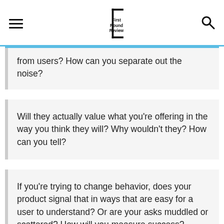First Round Review
from users? How can you separate out the noise?
Will they actually value what you’re offering in the way you think they will? Why wouldn’t they? How can you tell?
If you’re trying to change behavior, does your product signal that in ways that are easy for a user to understand? Or are your asks muddled or scattered? How will you measure success?